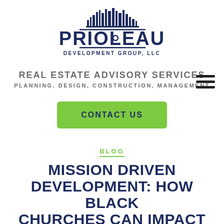[Figure (logo): Prioleau Development Group, LLC logo with city skyline silhouette above the stylized text PRIOLEAU and subtitle DEVELOPMENT GROUP, LLC]
REAL ESTATE ADVISORY SERVICES
PLANNING, DESIGN, CONSTRUCTION, MANAGEMENT
[Figure (other): Hamburger menu icon (three horizontal lines)]
CONTACT US
BLOG
MISSION DRIVEN DEVELOPMENT: HOW BLACK CHURCHES CAN IMPACT